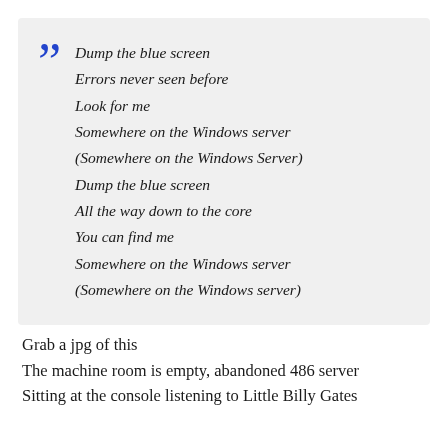Dump the blue screen
Errors never seen before
Look for me
Somewhere on the Windows server
(Somewhere on the Windows Server)
Dump the blue screen
All the way down to the core
You can find me
Somewhere on the Windows server
(Somewhere on the Windows server)
Grab a jpg of this
The machine room is empty, abandoned 486 server
Sitting at the console listening to Little Billy Gates